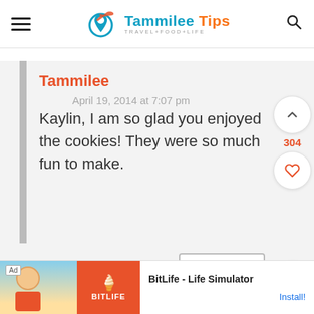Tammilee Tips — TRAVEL+FOOD+LIFE
Tammilee
April 19, 2014 at 7:07 pm
Kaylin, I am so glad you enjoyed the cookies! They were so much fun to make.
[Figure (screenshot): Ad banner for BitLife - Life Simulator app with Install button]